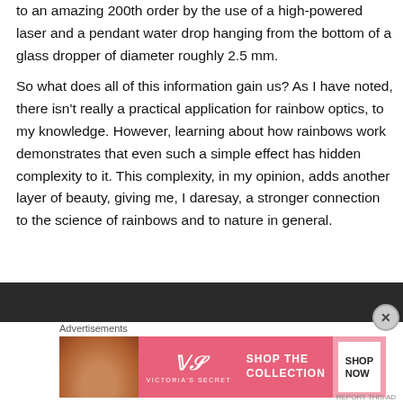to an amazing 200th order by the use of a high-powered laser and a pendant water drop hanging from the bottom of a glass dropper of diameter roughly 2.5 mm.
So what does all of this information gain us?  As I have noted, there isn't really a practical application for rainbow optics, to my knowledge.  However, learning about how rainbows work demonstrates that even such a simple effect has hidden complexity to it.  This complexity, in my opinion, adds another layer of beauty, giving me, I daresay, a stronger connection to the science of rainbows and to nature in general.
[Figure (other): Dark banner bar (advertisement area)]
Advertisements
[Figure (photo): Victoria's Secret advertisement banner showing a woman's face on the left, VS logo in the center with 'VICTORIA'S SECRET' text, 'SHOP THE COLLECTION' text, and a 'SHOP NOW' button on a pink background.]